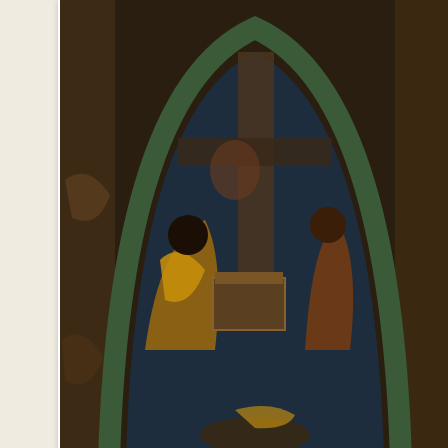[Figure (photo): A medieval chapel interior showing an arched fresco with religious figures painted in dark, aged colors including gold, brown, and blue. The arch has green borders and there is a decorative geometric frieze below with red and brown diamond shapes.]
The chapel
After our visit to the chapel, we took a narrow stairway to the next flo consisting of both original and replicas of armor and weaponry from a
[Figure (photo): Bottom portion of a stone or masonry surface, partially visible, in brown/tan tones.]